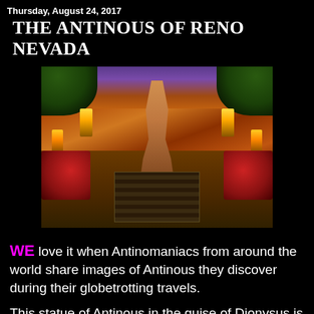Thursday, August 24, 2017
THE ANTINOUS OF RENO NEVADA
[Figure (photo): Interior of an Italian restaurant in Reno Nevada showing a central statue (Antinous as Dionysus) on a staircase, flanked by torches, red booth seating, and green foliage, with warm amber and purple lighting.]
WE love it when Antinomaniacs from around the world share images of Antinous they discover during their globetrotting travels.
This statue of Antinous in the guise of Dionysus is the center of an Italian restaurant in Reno Nevada. He holds the thyrsus staff of Dionysus in one hand and